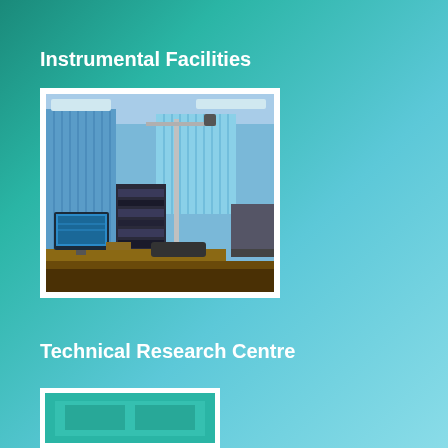Instrumental Facilities
[Figure (photo): Laboratory room with scientific instruments: a tall vertical stand/apparatus in the center, electronic equipment rack on the left, a computer monitor on the desk, blue walls and vertical blinds on windows in the background.]
Technical Research Centre
[Figure (photo): Partially visible photo of the Technical Research Centre, showing a teal/green colored room or equipment, partially cut off at the bottom of the page.]